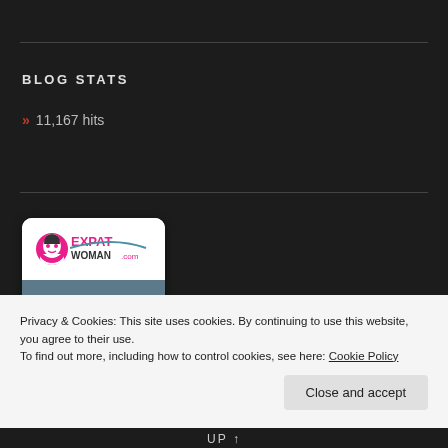BLOG STATS
» 11,167 hits
[Figure (logo): ExpatWoman.com badge with logo at top and 'I AM AN EXPATWOMAN' text on grey/blue banner]
Privacy & Cookies: This site uses cookies. By continuing to use this website, you agree to their use.
To find out more, including how to control cookies, see here: Cookie Policy
Close and accept
UP ↑